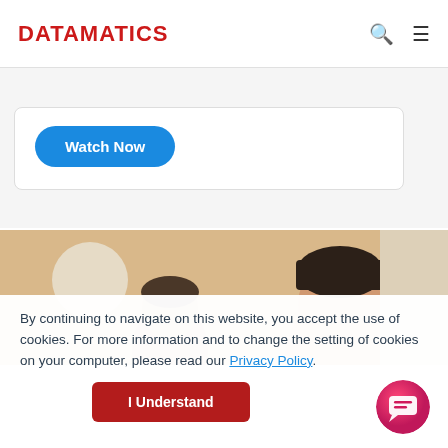DATAMATICS
[Figure (screenshot): Watch Now button inside a white card with rounded border]
[Figure (photo): Two people looking downward, partial heads visible, warm-toned background]
By continuing to navigate on this website, you accept the use of cookies. For more information and to change the setting of cookies on your computer, please read our Privacy Policy.
[Figure (other): I Understand button and chat bubble icon]